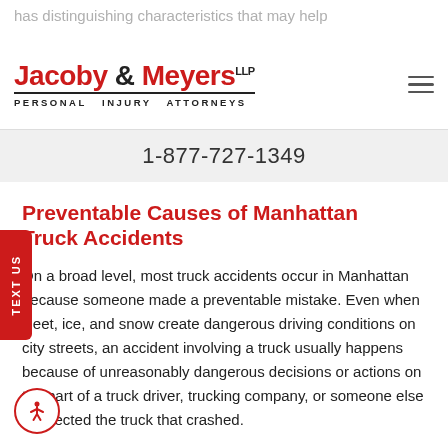has distinguishing characteristics that may help
[Figure (logo): Jacoby & Meyers LLP Personal Injury Attorneys logo in red and black]
1-877-727-1349
Preventable Causes of Manhattan Truck Accidents
On a broad level, most truck accidents occur in Manhattan because someone made a preventable mistake. Even when sleet, ice, and snow create dangerous driving conditions on city streets, an accident involving a truck usually happens because of unreasonably dangerous decisions or actions on the part of a truck driver, trucking company, or someone else connected the truck that crashed.